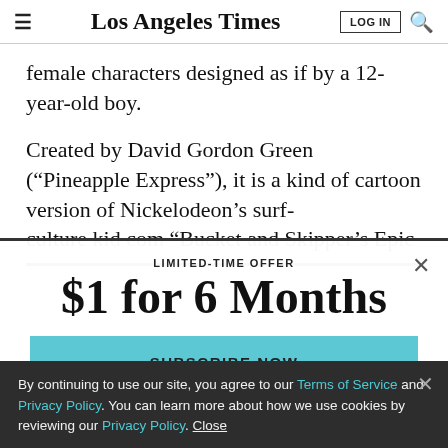Los Angeles Times | LOG IN | Search
female characters designed as if by a 12-year-old boy.
Created by David Gordon Green (“Pineapple Express”), it is a kind of cartoon version of Nickelodeon’s surf-culture kid com “Bucket and Skipper’s Epic
LIMITED-TIME OFFER
$1 for 6 Months
SUBSCRIBE NOW
By continuing to use our site, you agree to our Terms of Service and Privacy Policy. You can learn more about how we use cookies by reviewing our Privacy Policy. Close